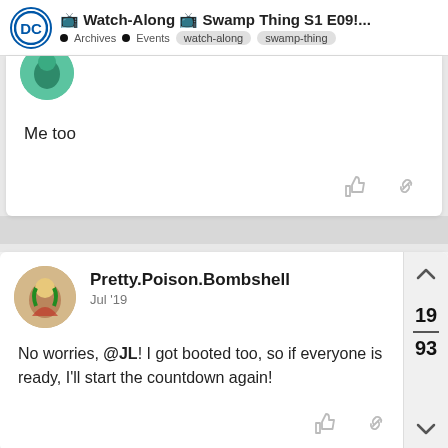📺 Watch-Along 📺 Swamp Thing S1 E09!... Archives • Events watch-along swamp-thing
Me too
Pretty.Poison.Bombshell
Jul '19
No worries, @JL! I got booted too, so if everyone is ready, I'll start the countdown again!